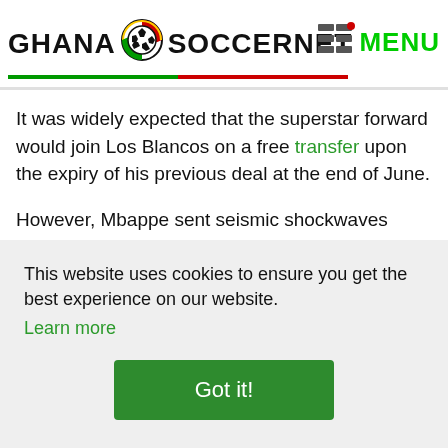GHANA SOCCERNET MENU
It was widely expected that the superstar forward would join Los Blancos on a free transfer upon the expiry of his previous deal at the end of June.
However, Mbappe sent seismic shockwaves through the football world when he completed an unlikely U-turn by penning fresh terms in the French capital over the weekend.
This website uses cookies to ensure you get the best experience on our website.
Learn more
Got it!